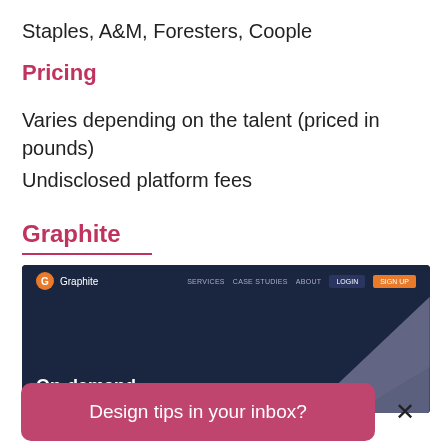Staples, A&M, Foresters, Coople
Pricing
Varies depending on the talent (priced in pounds)
Undisclosed platform fees
Graphite
[Figure (screenshot): Screenshot of the Graphite website showing the navigation bar with logo, Services, Case Studies, About, Login and Sign Up buttons, and a dark navy background with the text 'On-demand' visible and a triangular graphic element.]
Design tips in your inbox?